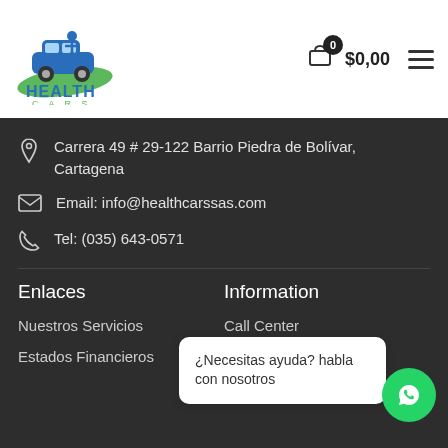[Figure (logo): Health Cars logo with blue figure on green car and green hand, blue and green text HEALTH CARS]
$0,00
Carrera 49 # 29-122 Barrio Piedra de Bolívar, Cartagena
Email: info@healthcarssas.com
Tel: (035) 643-0571
Enlaces
Information
Nuestros Servicios
Call Center
Estados Financieros
¿Necesitas ayuda? habla con nosotros
Oxigeno